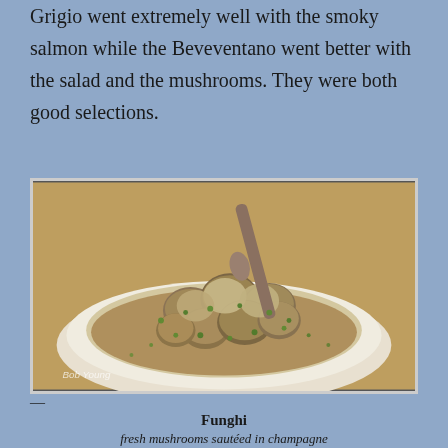Grigio went extremely well with the smoky salmon while the Beveventano went better with the salad and the mushrooms. They were both good selections.
[Figure (photo): A white bowl filled with sautéed mushrooms in a broth/sauce, garnished with chopped green herbs, with a large spoon visible in the background. Watermark reads 'Bob Young' in the lower left corner.]
Funghi
fresh mushrooms sautéed in champagne